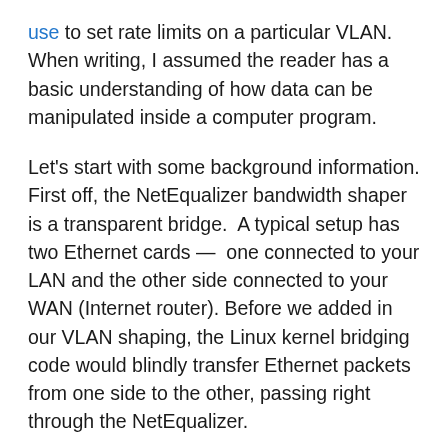use to set rate limits on a particular VLAN. When writing, I assumed the reader has a basic understanding of how data can be manipulated inside a computer program.
Let's start with some background information. First off, the NetEqualizer bandwidth shaper is a transparent bridge. A typical setup has two Ethernet cards — one connected to your LAN and the other side connected to your WAN (Internet router). Before we added in our VLAN shaping, the Linux kernel bridging code would blindly transfer Ethernet packets from one side to the other, passing right through the NetEqualizer.
As these Ethernet packets pass through, they're visible as data in the Linux kernel. Normally, they pass through unmolested — in one side out the other. However, the key to bandwidth shaping is what you do with them as they